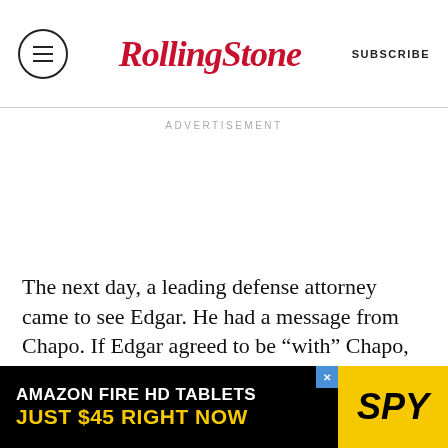Rolling Stone — SUBSCRIBE
ADVERTISEMENT
The next day, a leading defense attorney came to see Edgar. He had a message from Chapo. If Edgar agreed to be “with” Chapo, he would be paid handsomely. Chapo would also provide Edgar with a steady stream of criminals to “capture,” so he could appear to be doing his job. The perversity of the situation — the narco offering protection to the law — wasn’t lost on
[Figure (infographic): Amazon Fire HD Tablets advertisement banner: black background with white text 'AMAZON FIRE HD TABLETS', yellow text 'JUST $45 RIGHT NOW', SPY logo in yellow on right side]